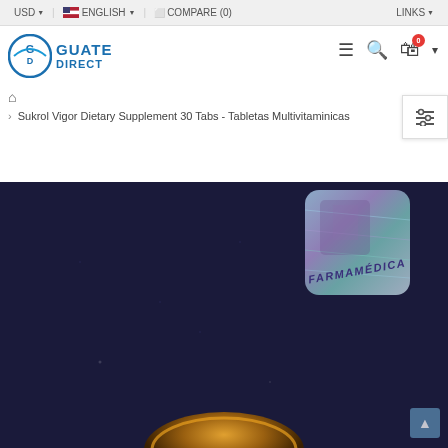USD  |  ENGLISH  |  COMPARE (0)  |  LINKS
[Figure (logo): Guate Direct logo — circular GD emblem with blue arrow and text GUATE DIRECT]
Navigation icons: hamburger menu, search, cart (0), caret
Sukrol Vigor Dietary Supplement 30 Tabs - Tabletas Multivitaminicas
[Figure (photo): Product photo on dark blue/navy background showing a holographic FARMAMÉDICA sticker badge top right, and a round tablet/coin visible at bottom center]